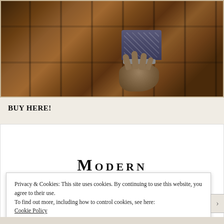[Figure (photo): A dramatic photo showing a person's arm and hand reaching out on a wooden plank floor. The hand is gray/ashen colored with a bracelet/cuff visible at the wrist. The person appears to be wearing a patterned sleeve. The wood floor has large square panels with visible seams and bolts.]
BUY HERE!
MODERN
Privacy & Cookies: This site uses cookies. By continuing to use this website, you agree to their use.
To find out more, including how to control cookies, see here:
Cookie Policy
Close and accept